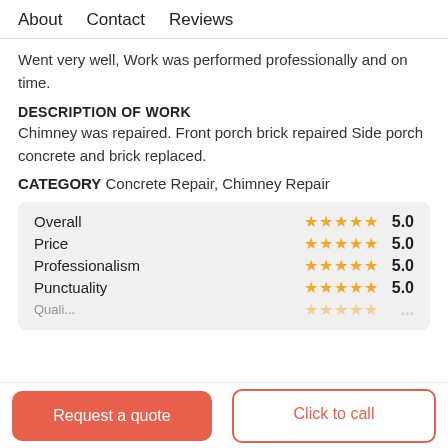About   Contact   Reviews
Went very well, Work was performed professionally and on time.
DESCRIPTION OF WORK
Chimney was repaired. Front porch brick repaired Side porch concrete and brick replaced.
CATEGORY Concrete Repair, Chimney Repair
| Category | Stars | Score |
| --- | --- | --- |
| Overall | ★★★★★ | 5.0 |
| Price | ★★★★★ | 5.0 |
| Professionalism | ★★★★★ | 5.0 |
| Punctuality | ★★★★★ | 5.0 |
Request a quote
Click to call